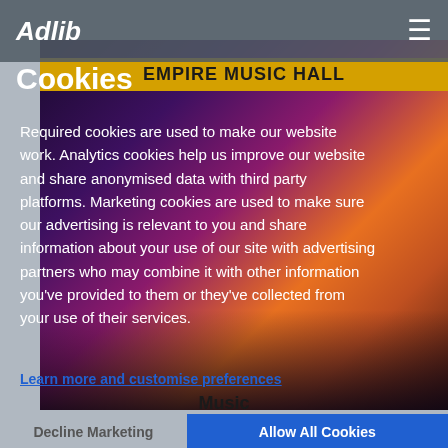Adlib ☰
Cookies
[Figure (photo): Concert stage photo showing Empire Music Hall neon sign with colorful purple and orange stage lighting, instruments visible in background]
Required cookies are used to make our website work. Analytics cookies help us improve our website and share anonymised data with third party platforms. Marketing cookies are used to make sure our advertising is relevant to you and share information about your use of our site with advertising partners who may combine it with other information you've provided to them or they've collected from your use of their services.
Learn more and customise preferences
Music
Decline Marketing
Allow All Cookies